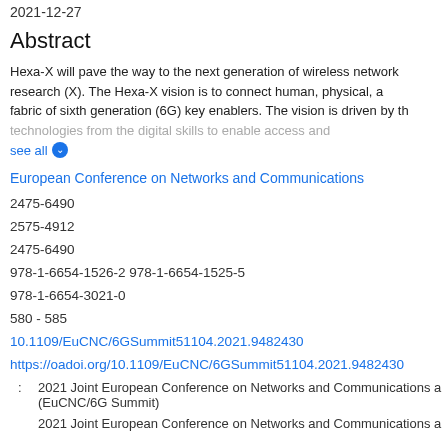2021-12-27
Abstract
Hexa-X will pave the way to the next generation of wireless network research (X). The Hexa-X vision is to connect human, physical, a fabric of sixth generation (6G) key enablers. The vision is driven by th technologies from the digital skills to enable access and see all
European Conference on Networks and Communications
2475-6490
2575-4912
2475-6490
978-1-6654-1526-2 978-1-6654-1525-5
978-1-6654-3021-0
580 - 585
10.1109/EuCNC/6GSummit51104.2021.9482430
https://oadoi.org/10.1109/EuCNC/6GSummit51104.2021.9482430
2021 Joint European Conference on Networks and Communications a (EuCNC/6G Summit)
2021 Joint European Conference on Networks and Communications a